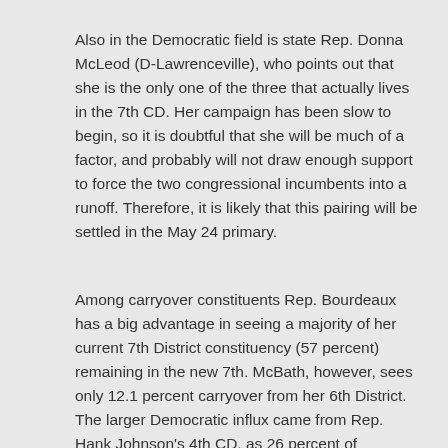Also in the Democratic field is state Rep. Donna McLeod (D-Lawrenceville), who points out that she is the only one of the three that actually lives in the 7th CD. Her campaign has been slow to begin, so it is doubtful that she will be much of a factor, and probably will not draw enough support to force the two congressional incumbents into a runoff. Therefore, it is likely that this pairing will be settled in the May 24 primary.
Among carryover constituents Rep. Bourdeaux has a big advantage in seeing a majority of her current 7th District constituency (57 percent) remaining in the new 7th. McBath, however, sees only 12.1 percent carryover from her 6th District. The larger Democratic influx came from Rep. Hank Johnson's 4th CD, as 26 percent of